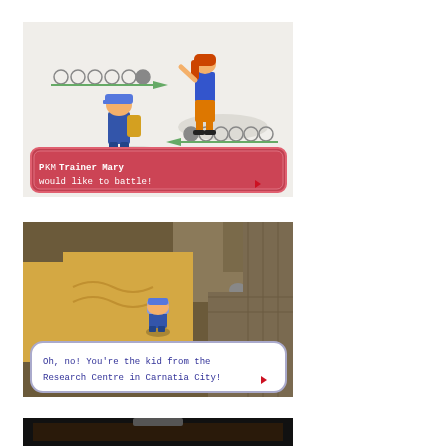[Figure (screenshot): Pokemon game screenshot showing a trainer battle scene. Two characters face each other on a light background with circular shadows. HP bars shown at top. A red dialog box reads: [Pokemon symbol] Trainer Mary would like to battle! with a red heart/arrow symbol.]
[Figure (screenshot): Pokemon game screenshot showing an overhead view of a desert/cave area with sandy tiles, rocks, and stone walls. A player character stands in the middle. A white dialog box reads: Oh, no! You're the kid from the Research Centre in Carnatia City! with a red heart/arrow symbol.]
[Figure (screenshot): Partial Pokemon game screenshot showing a dark indoor area, only partially visible at the bottom of the page.]